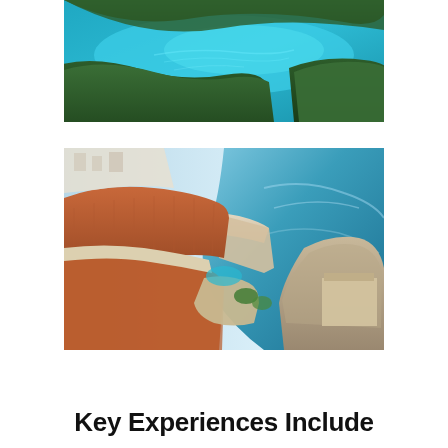[Figure (photo): Aerial view of green forested islands with turquoise blue water between them, Croatian coastline or island chain]
[Figure (photo): Aerial view of Dubrovnik old town with orange-red rooftops, city walls, and the Adriatic Sea surrounding rocky cliffs]
Key Experiences Include